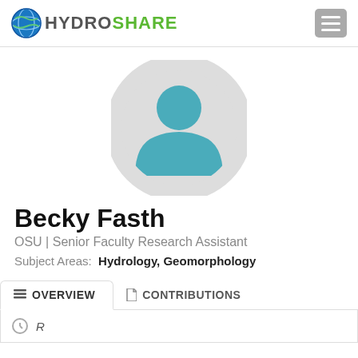HydroShare
[Figure (illustration): Default user avatar: teal silhouette of a person inside a light gray circle]
Becky Fasth
OSU | Senior Faculty Research Assistant
Subject Areas: Hydrology, Geomorphology
OVERVIEW   CONTRIBUTIONS
Recent Activity